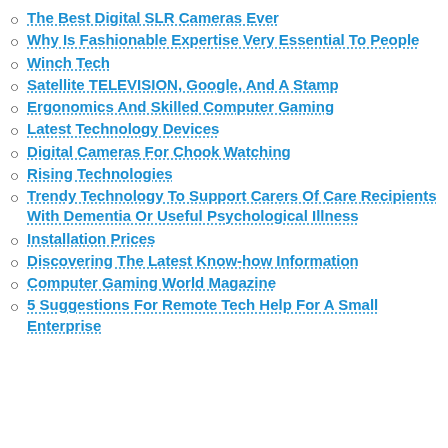The Best Digital SLR Cameras Ever
Why Is Fashionable Expertise Very Essential To People
Winch Tech
Satellite TELEVISION, Google, And A Stamp
Ergonomics And Skilled Computer Gaming
Latest Technology Devices
Digital Cameras For Chook Watching
Rising Technologies
Trendy Technology To Support Carers Of Care Recipients With Dementia Or Useful Psychological Illness
Installation Prices
Discovering The Latest Know-how Information
Computer Gaming World Magazine
5 Suggestions For Remote Tech Help For A Small Enterprise